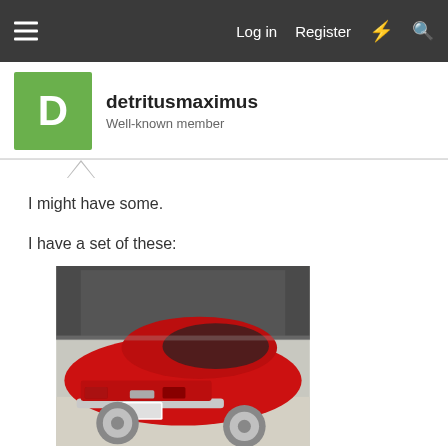Log in  Register
detritusmaximus
Well-known member
I might have some.
I have a set of these:
[Figure (photo): Rear view of a red classic Ford Mustang (early 1970s) parked in front of a garage. The car is bright red with chrome bumpers and white wall tires.]
Or are you looking for these: